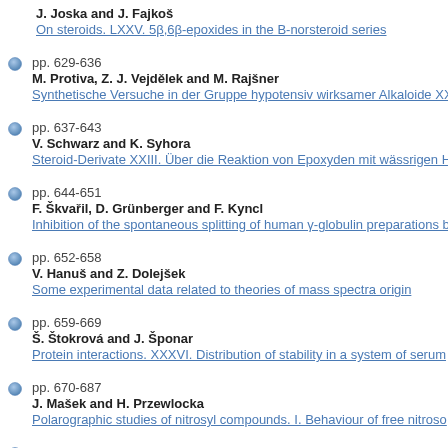J. Joska and J. Fajkoš
On steroids. LXXV. 5β,6β-epoxides in the B-norsteroid series
pp. 629-636
M. Protiva, Z. J. Vejdělek and M. Rajšner
Synthetische Versuche in der Gruppe hypotensiv wirksamer Alkaloide XX
pp. 637-643
V. Schwarz and K. Syhora
Steroid-Derivate XXIII. Über die Reaktion von Epoxyden mit wässrigen H
pp. 644-651
F. Škvařil, D. Grünberger and F. Kyncl
Inhibition of the spontaneous splitting of human γ-globulin preparations b
pp. 652-658
V. Hanuš and Z. Dolejšek
Some experimental data related to theories of mass spectra origin
pp. 659-669
Š. Štokrová and J. Šponar
Protein interactions. XXXVI. Distribution of stability in a system of serum
pp. 670-687
J. Mašek and H. Przewlocka
Polarographic studies of nitrosyl compounds. I. Behaviour of free nitroso
pp. 688-695